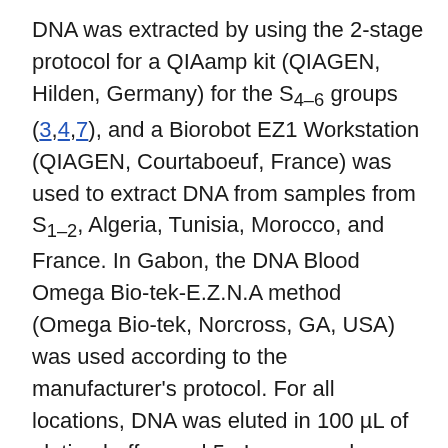DNA was extracted by using the 2-stage protocol for a QIAamp kit (QIAGEN, Hilden, Germany) for the S4–6 groups (3,4,7), and a Biorobot EZ1 Workstation (QIAGEN, Courtaboeuf, France) was used to extract DNA from samples from S1–2, Algeria, Tunisia, Morocco, and France. In Gabon, the DNA Blood Omega Bio-tek-E.Z.N.A method (Omega Bio-tek, Norcross, GA, USA) was used according to the manufacturer's protocol. For all locations, DNA was eluted in 100 µL of elution buffer, and 5 µL was used per reaction.
Quantitative real-time reverse transcription PCR (qRT-PCR) was performed by using a 7900HT-thermocycler (Applied Biosystems) with the QuantiTect-Probe PCR Kit (QIAGEN, Courtabeuf, France). Only samples positive for the β-actin gene product were considered reliable (3); thus, 51 and 9